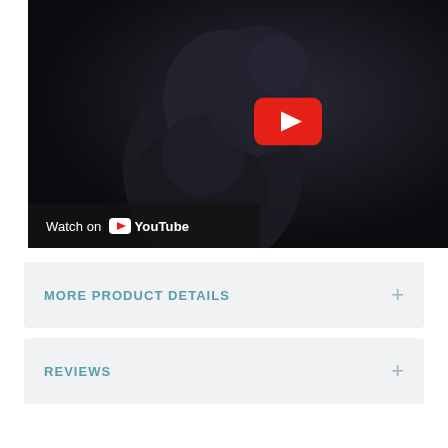[Figure (screenshot): YouTube video thumbnail showing two people in a dark dramatic scene. A YouTube play button (red rectangle with white triangle) is visible in the center-right. A 'Watch on YouTube' bar appears at the bottom-left of the video.]
MORE PRODUCT DETAILS
REVIEWS